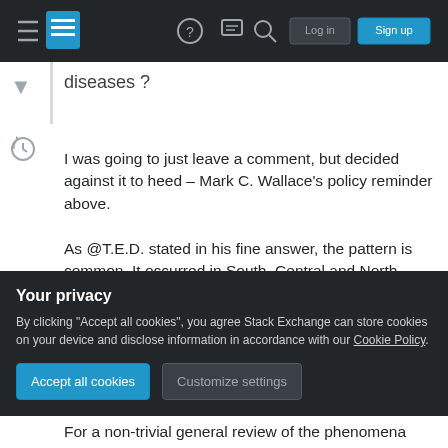[Figure (screenshot): Stack Exchange navigation bar with hamburger menu, logo, help icon, chat icon, search icon, Log in and Sign up buttons on dark background]
diseases ?
I was going to just leave a comment, but decided against it to heed – Mark C. Wallace's policy reminder above.

As @T.E.D. stated in his fine answer, the pattern is common. It occurred in South, Central and North America; as well as in Hawaii and other isolated islands in the south pacific. When European(Eurasian) cultures first encounter non Eurasian peoples; the result is a large die off due to
Your privacy
By clicking "Accept all cookies", you agree Stack Exchange can store cookies on your device and disclose information in accordance with our Cookie Policy.
Accept all cookies
Customize settings
For a non-trivial general review of the phenomena